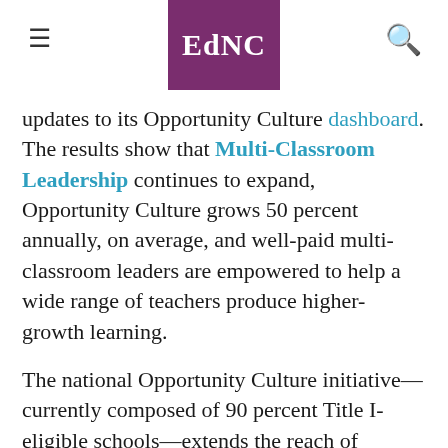EdNC
updates to its Opportunity Culture dashboard. The results show that Multi-Classroom Leadership continues to expand, Opportunity Culture grows 50 percent annually, on average, and well-paid multi-classroom leaders are empowered to help a wide range of teachers produce higher-growth learning.
The national Opportunity Culture initiative—currently composed of 90 percent Title I-eligible schools—extends the reach of excellent teachers and their teams to more students, for more pay, within schools'